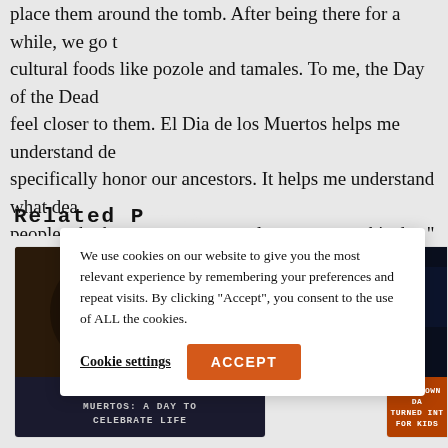place them around the tomb. After being there for a while, we go to cultural foods like pozole and tamales. To me, the Day of the Dead feel closer to them. El Dia de los Muertos helps me understand dea specifically honor our ancestors. It helps me understand what dea people who have past on come closer to us on this day." — Lizbeth W
Related Posts
[Figure (photo): Skull face paint makeup for Dia de los Muertos / Day of the Dead celebration]
DIA DE LOS MUERTOS: A DAY TO CELEBRATE LIFE
[Figure (photo): Partial view of another related post card, orange/dark background]
COUNTDOWN TO DAY OF THE DEAD FOR KIDS
We use cookies on our website to give you the most relevant experience by remembering your preferences and repeat visits. By clicking "Accept", you consent to the use of ALL the cookies.
Cookie settings
ACCEPT